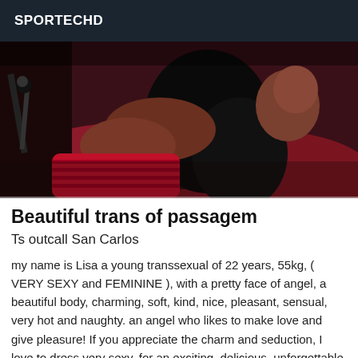SPORTECHD
[Figure (photo): A young woman with long dark hair lying on red cushions/pillows, photographed from behind, looking over her shoulder toward the camera in a dimly lit room.]
Beautiful trans of passagem
Ts outcall San Carlos
my name is Lisa a young transsexual of 22 years, 55kg, ( VERY SEXY and FEMININE ), with a pretty face of angel, a beautiful body, charming, soft, kind, nice, pleasant, sensual, very hot and naughty. an angel who likes to make love and give pleasure! If you appreciate the charm and seduction, I love to dress very sexy, for an exciting, delicious, unforgettable moment that you will